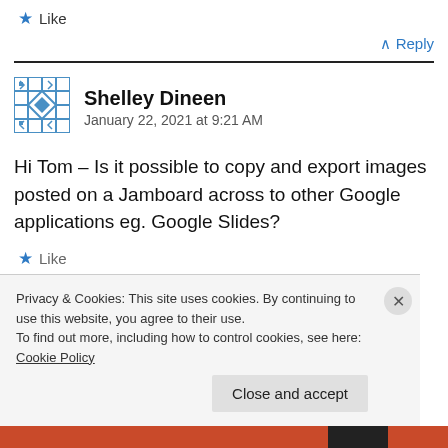★ Like
^ Reply
[Figure (illustration): Avatar/identicon for Shelley Dineen — geometric blue square pattern]
Shelley Dineen
January 22, 2021 at 9:21 AM
Hi Tom – Is it possible to copy and export images posted on a Jamboard across to other Google applications eg. Google Slides?
★ Like
Privacy & Cookies: This site uses cookies. By continuing to use this website, you agree to their use.
To find out more, including how to control cookies, see here: Cookie Policy
Close and accept